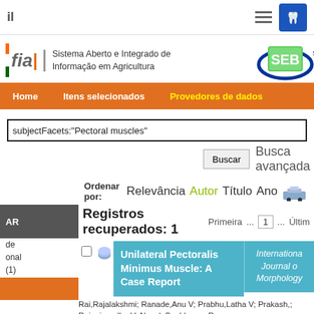iia | Sistema Aberto e Integrado de Informação em Agricultura
Home   Itens selecionados   Provedores de dados
subjectFacets:"Pectoral muscles"
Buscar   Busca avançada
Ordenar por: Relevância Autor Título Ano
Registros recuperados: 1   Primeira ... 1 ... Últim
Unilateral Pectoralis Minimus Muscle: A Case Report
International Journal of Morphology
Rai,Rajalakshmi; Ranade,Anu V; Prabhu,Latha V; Prakash,; Rajanigandha V; Nayak,Soubhagya R